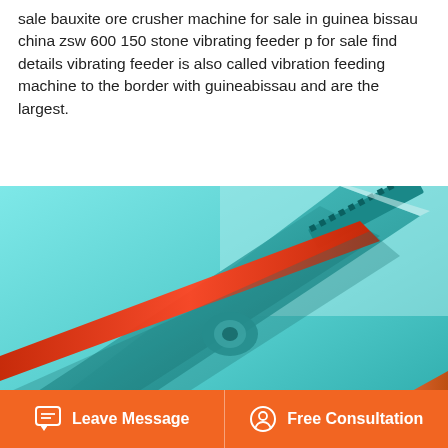sale bauxite ore crusher machine for sale in guinea bissau china zsw 600 150 stone vibrating feeder p for sale find details vibrating feeder is also called vibration feeding machine to the border with guineabissau and are the largest.
[Figure (photo): Close-up photo of pliers (needle-nose or long-nose pliers) with red and orange rubber grip handles, metallic teal/cyan tinted, with a scroll-to-top orange button overlay in the top right corner.]
Leave Message
Free Consultation